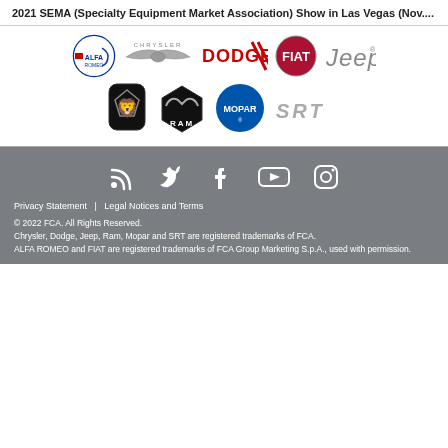2021 SEMA (Specialty Equipment Market Association) Show in Las Vegas (Nov....
[Figure (logo): Brand logos row 1: Alfa Romeo, Chrysler, Dodge, Fiat, Jeep]
[Figure (logo): Brand logos row 2: Peugeot, Ram, Mopar, SRT]
[Figure (logo): Social media icons: RSS, Twitter, Facebook, YouTube, Instagram]
Privacy Statement  |  Legal Notices and Terms
© 2022 FCA. All Rights Reserved.
Chrysler, Dodge, Jeep, Ram, Mopar and SRT are registered trademarks of FCA.
ALFA ROMEO and FIAT are registered trademarks of FCA Group Marketing S.p.A., used with permission.